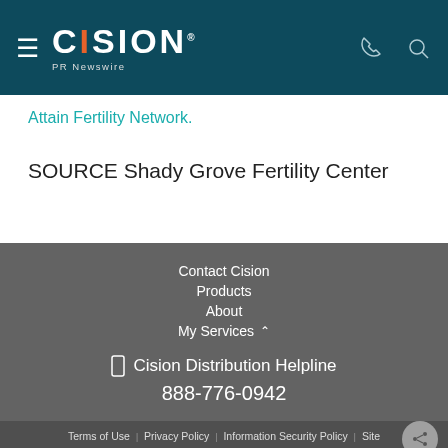CISION PR Newswire
Attain Fertility Network.
SOURCE Shady Grove Fertility Center
Contact Cision
Products
About
My Services
Cision Distribution Helpline 888-776-0942
Terms of Use | Privacy Policy | Information Security Policy | Site | RSS | Cookie Settings